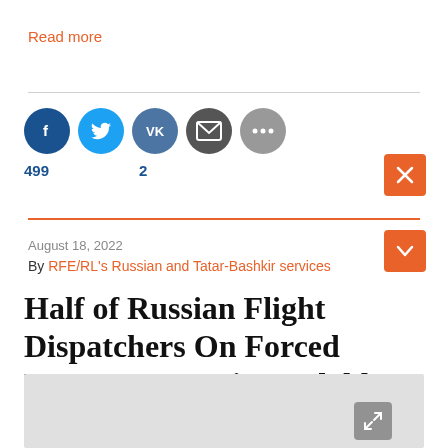Read more
[Figure (infographic): Social share buttons: Facebook (499), Twitter, VKontakte (2), Email, More options. Close (X) button.]
August 18, 2022
By RFE/RL's Russian and Tatar-Bashkir services
Half of Russian Flight Dispatchers On Forced Leave As Sanctions Clobber Travel
[Figure (photo): Gray image placeholder at the bottom of the page with expand icon.]